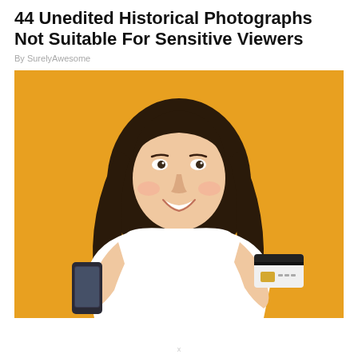44 Unedited Historical Photographs Not Suitable For Sensitive Viewers
By SurelyAwesome
[Figure (photo): A smiling young woman with long dark wavy hair, wearing a white t-shirt, holding a smartphone in her left hand and a credit card in her right hand, photographed against a bright orange/yellow background.]